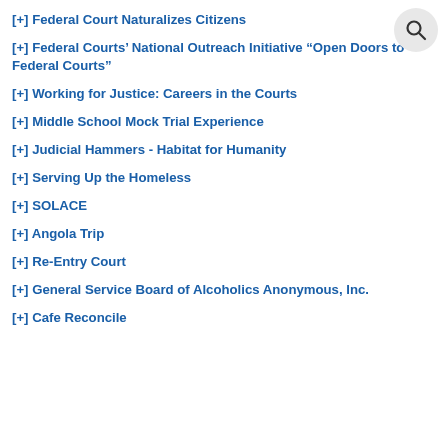[+] Federal Court Naturalizes Citizens
[+] Federal Courts' National Outreach Initiative “Open Doors to Federal Courts”
[+] Working for Justice: Careers in the Courts
[+] Middle School Mock Trial Experience
[+] Judicial Hammers - Habitat for Humanity
[+] Serving Up the Homeless
[+] SOLACE
[+] Angola Trip
[+] Re-Entry Court
[+] General Service Board of Alcoholics Anonymous, Inc.
[+] Cafe Reconcile